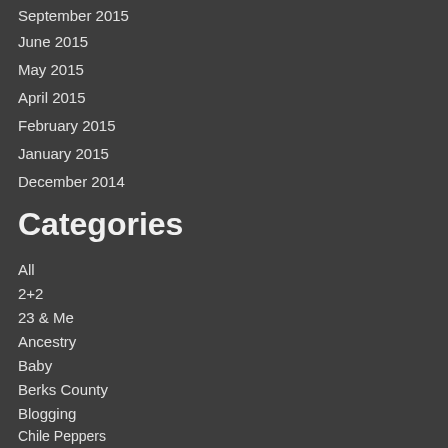September 2015
June 2015
May 2015
April 2015
February 2015
January 2015
December 2014
Categories
All
2+2
23 & Me
Ancestry
Baby
Berks County
Blogging
Chile Peppers
Chile Sauce
Christmas
Christmas Lights
Christmas Traditions